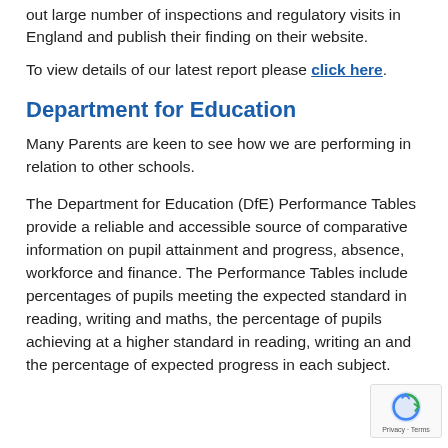out large number of inspections and regulatory visits in England and publish their finding on their website.
To view details of our latest report please click here.
Department for Education
Many Parents are keen to see how we are performing in relation to other schools.
The Department for Education (DfE) Performance Tables provide a reliable and accessible source of comparative information on pupil attainment and progress, absence, workforce and finance. The Performance Tables include percentages of pupils meeting the expected standard in reading, writing and maths, the percentage of pupils achieving at a higher standard in reading, writing and and the percentage of expected progress in each subject.